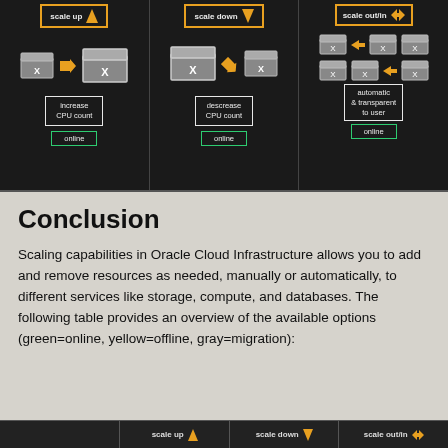[Figure (infographic): Three-panel dark infographic showing cloud scaling options: scale up (increase CPU count, online), scale down (decrease CPU count, online), scale out/in (automatic & transparent to user, online). Each panel shows server icons with orange arrows indicating direction of scaling.]
Conclusion
Scaling capabilities in Oracle Cloud Infrastructure allows you to add and remove resources as needed, manually or automatically, to different services like storage, compute, and databases. The following table provides an overview of the available options (green=online, yellow=offline, gray=migration):
[Figure (table-as-image): Bottom strip showing start of a table with columns: scale up, scale down, scale out/in]